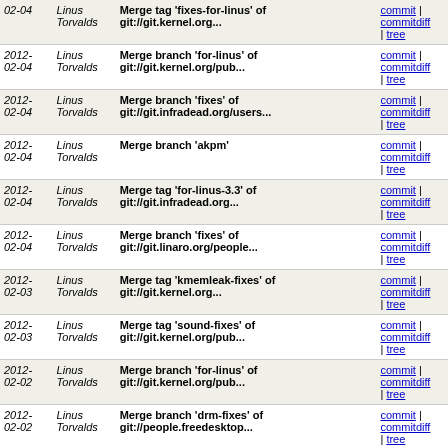| Date | Author | Message | Links |
| --- | --- | --- | --- |
| 2012-02-04 | Linus Torvalds | Merge tag 'fixes-for-linus' of git://git.kernel.org... | commit | commitdiff | tree |
| 2012-02-04 | Linus Torvalds | Merge branch 'for-linus' of git://git.kernel.org/pub... | commit | commitdiff | tree |
| 2012-02-04 | Linus Torvalds | Merge branch 'fixes' of git://git.infradead.org/users... | commit | commitdiff | tree |
| 2012-02-04 | Linus Torvalds | Merge branch 'akpm' | commit | commitdiff | tree |
| 2012-02-04 | Linus Torvalds | Merge tag 'for-linus-3.3' of git://git.infradead.org... | commit | commitdiff | tree |
| 2012-02-04 | Linus Torvalds | Merge branch 'fixes' of git://git.linaro.org/people... | commit | commitdiff | tree |
| 2012-02-03 | Linus Torvalds | Merge tag 'kmemleak-fixes' of git://git.kernel.org... | commit | commitdiff | tree |
| 2012-02-03 | Linus Torvalds | Merge tag 'sound-fixes' of git://git.kernel.org/pub... | commit | commitdiff | tree |
| 2012-02-02 | Linus Torvalds | Merge branch 'for-linus' of git://git.kernel.org/pub... | commit | commitdiff | tree |
| 2012-02-02 | Linus Torvalds | Merge branch 'drm-fixes' of git://people.freedesktop... | commit | commitdiff | tree |
| 2012-02-02 | Linus Torvalds | Merge branch 'next' of git://git.monstr.eu/linux-2... | commit | commitdiff | tree |
| 2012-02-02 | Linus Torvalds | Merge branches 'core-urgent-for-linus', 'perf-urgent... | commit | commitdiff | tree |
| 2012-02-02 | Linus Torvalds | Merge tag 'firewire-fixes' of git://git.kernel.org... | commit | commitdiff | tree |